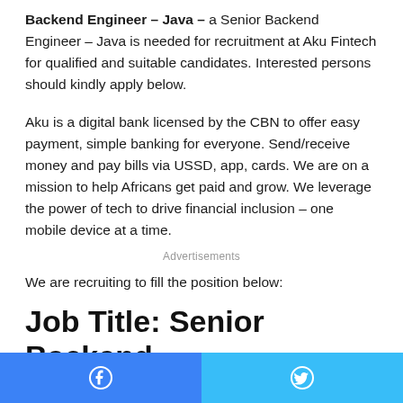Backend Engineer – Java – a Senior Backend Engineer – Java is needed for recruitment at Aku Fintech for qualified and suitable candidates. Interested persons should kindly apply below.
Aku is a digital bank licensed by the CBN to offer easy payment, simple banking for everyone. Send/receive money and pay bills via USSD, app, cards. We are on a mission to help Africans get paid and grow. We leverage the power of tech to drive financial inclusion – one mobile device at a time.
Advertisements
We are recruiting to fill the position below:
Job Title: Senior Backend
Facebook | Twitter